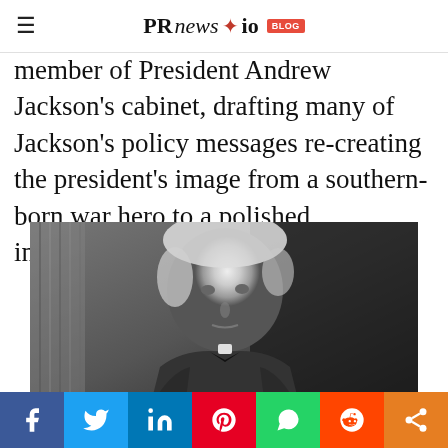PR news.io BLOG
member of President Andrew Jackson's cabinet, drafting many of Jackson's policy messages recreating the president's image from a southern-born war hero to a polished intellectual.
[Figure (photo): Black and white portrait photograph of an elderly man with white hair wearing a dark suit and bow tie, posed against a dark background with curtain visible on the left.]
Social sharing bar: Facebook, Twitter, LinkedIn, Pinterest, WhatsApp, Reddit, Share